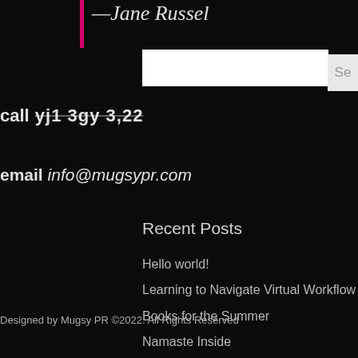—Jane Russel
call (truncated)
email info@mugsypr.com
Recent Posts
Hello world!
Learning to Navigate Virtual Workflow
Books for the Summer
Namaste Inside
The Telecommuting Crash Course: Everything You Need to Start Working from Home
Designed by Mugsy PR ©2022. All Rights Reserved
Privacy Policy
Recent Comments
A WordPress Commenter on Hello world!